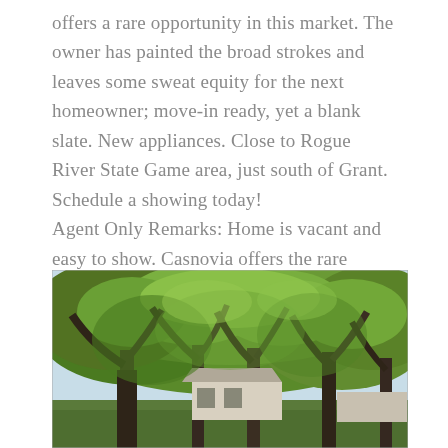offers a rare opportunity in this market. The owner has painted the broad strokes and leaves some sweat equity for the next homeowner; move-in ready, yet a blank slate. New appliances. Close to Rogue River State Game area, just south of Grant. Schedule a showing today! Agent Only Remarks: Home is vacant and easy to show. Casnovia offers the rare combination of city sewer with well water.
[Figure (photo): Exterior photo of a house surrounded by tall trees with lush green foliage, a white structure visible in the background, taken in spring or summer.]